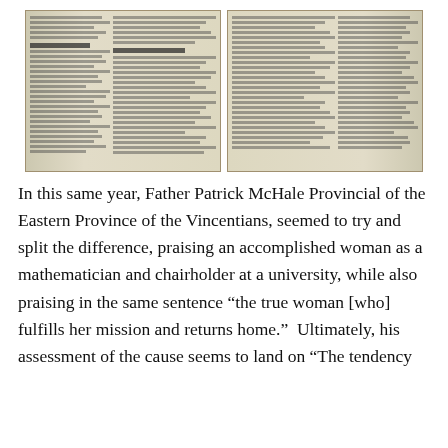[Figure (photo): Two scanned newspaper clippings side by side showing columns of small printed text. Left clipping contains a heading 'The Bishop's Remarks' and columns of dense text. Right clipping also shows multiple columns of dense newspaper text.]
In this same year, Father Patrick McHale Provincial of the Eastern Province of the Vincentians, seemed to try and split the difference, praising an accomplished woman as a mathematician and chairholder at a university, while also praising in the same sentence “the true woman [who] fulfills her mission and returns home.”  Ultimately, his assessment of the cause seems to land on “The tendency